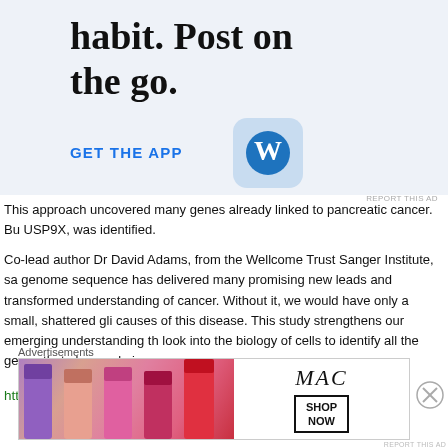[Figure (screenshot): WordPress app advertisement banner with large text 'habit. Post on the go.' and 'GET THE APP' button with WordPress icon on light blue background]
This approach uncovered many genes already linked to pancreatic cancer. Bu USP9X, was identified.
Co-lead author Dr David Adams, from the Wellcome Trust Sanger Institute, sa genome sequence has delivered many promising new leads and transformed understanding of cancer. Without it, we would have only a small, shattered gli causes of this disease. This study strengthens our emerging understanding th look into the biology of cells to identify all the genes that play a role in cancer.
http://www.sanger.ac.uk/about/press/2012/120429.html
Advertisements
[Figure (screenshot): MAC cosmetics advertisement banner showing lipsticks and 'SHOP NOW' box]